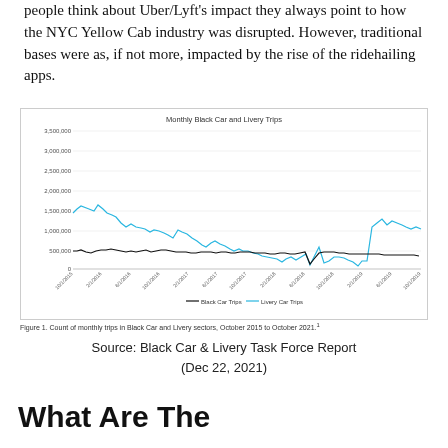people think about Uber/Lyft's impact they always point to how the NYC Yellow Cab industry was disrupted. However, traditional bases were as, if not more, impacted by the rise of the ridehailing apps.
[Figure (line-chart): Line chart showing monthly Black Car and Livery Car trip counts from October 2015 to October 2021. Livery trips start around 2.85M and decline to ~900K. Black Car trips remain relatively flat around 500K with a dip during COVID.]
Figure 1. Count of monthly trips in Black Car and Livery sectors, October 2015 to October 2021.¹
Source: Black Car & Livery Task Force Report (Dec 22, 2021)
What Are The